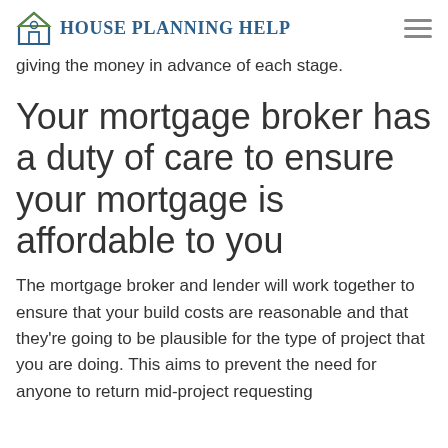House Planning Help
giving the money in advance of each stage.
Your mortgage broker has a duty of care to ensure your mortgage is affordable to you
The mortgage broker and lender will work together to ensure that your build costs are reasonable and that they're going to be plausible for the type of project that you are doing. This aims to prevent the need for anyone to return mid-project requesting